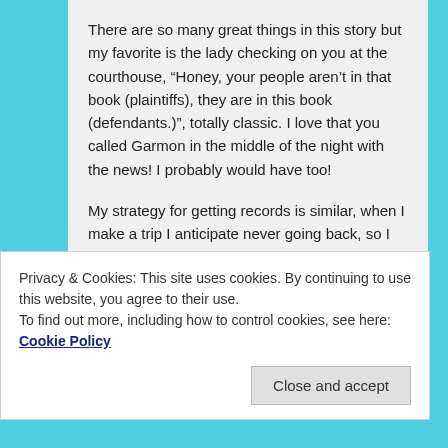There are so many great things in this story but my favorite is the lady checking on you at the courthouse, “Honey, your people aren’t in that book (plaintiffs), they are in this book (defendants.)”, totally classic. I love that you called Garmon in the middle of the night with the news! I probably would have too!
My strategy for getting records is similar, when I make a trip I anticipate never going back, so I get absolutely everything I can while I am there even if it does not seem relevant. It seemed like a waste of time initially, but I have saved so much time in
Privacy & Cookies: This site uses cookies. By continuing to use this website, you agree to their use.
To find out more, including how to control cookies, see here: Cookie Policy
Close and accept